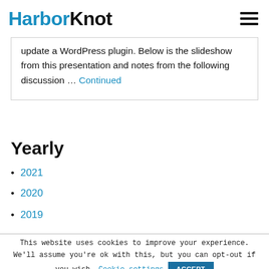HarborKnot
update a WordPress plugin. Below is the slideshow from this presentation and notes from the following discussion ... Continued
Yearly
2021
2020
2019
This website uses cookies to improve your experience. We'll assume you're ok with this, but you can opt-out if you wish. Cookie settings ACCEPT